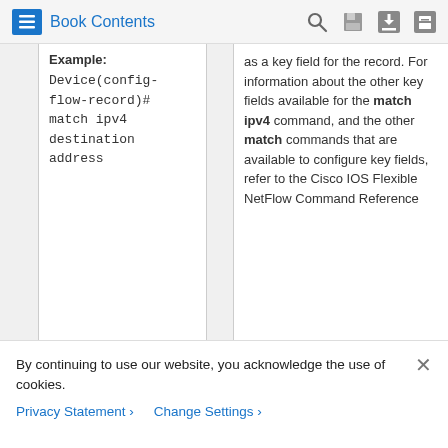Book Contents
Example: Device(config-flow-record)# match ipv4 destination address
as a key field for the record. For information about the other key fields available for the match ipv4 command, and the other match commands that are available to configure key fields, refer to the Cisco IOS Flexible NetFlow Command Reference
By continuing to use our website, you acknowledge the use of cookies.
Privacy Statement > Change Settings >